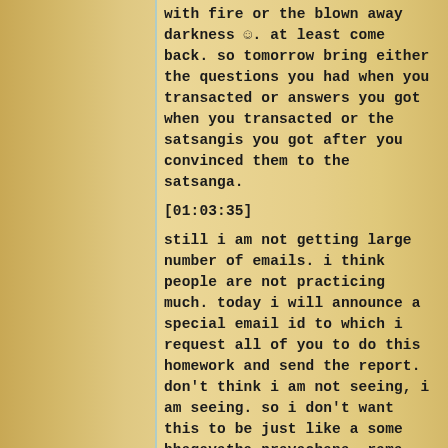with fire or the blown away darkness ☺. at least come back. so tomorrow bring either the questions you had when you transacted or answers you got when you transacted or the satsangis you got after you convinced them to the satsanga.
[01:03:35]
still i am not getting large number of emails. i think people are not practicing much. today i will announce a special email id to which i request all of you to do this homework and send the report. don't think i am not seeing, i am seeing. so i don't want this to be just like a some bhagavatha pravachana. rama came. sita came. they fell in love, got married and sita was kidnapped by ravana. i don't want you to be just sitting and listening to some stories! no! i want this to be a mystery school where you are taught every day the truths and you work with it. see the big